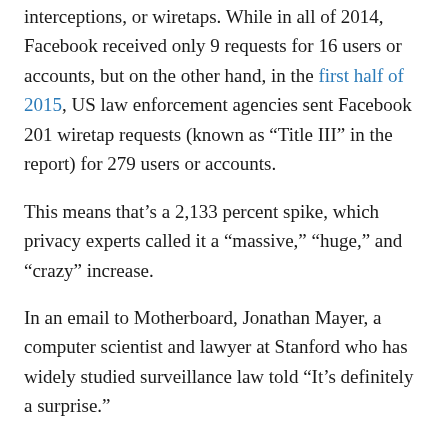interceptions, or wiretaps. While in all of 2014, Facebook received only 9 requests for 16 users or accounts, but on the other hand, in the first half of 2015, US law enforcement agencies sent Facebook 201 wiretap requests (known as “Title III” in the report) for 279 users or accounts.
This means that’s a 2,133 percent spike, which privacy experts called it a “massive,” “huge,” and “crazy” increase.
In an email to Motherboard, Jonathan Mayer, a computer scientist and lawyer at Stanford who has widely studied surveillance law told “It’s definitely a surprise.”